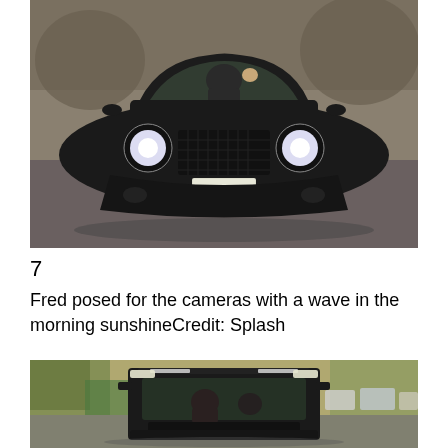[Figure (photo): Front view of a matte black Bentley Continental GT driving on a road, driver visible waving through windshield, round LED headlights illuminated, license plate blurred]
7
Fred posed for the cameras with a wave in the morning sunshineCredit: Splash
[Figure (photo): Front view of a black boxy SUV (G-Wagon style) driving on a tree-lined road, driver visible, cars parked in background]